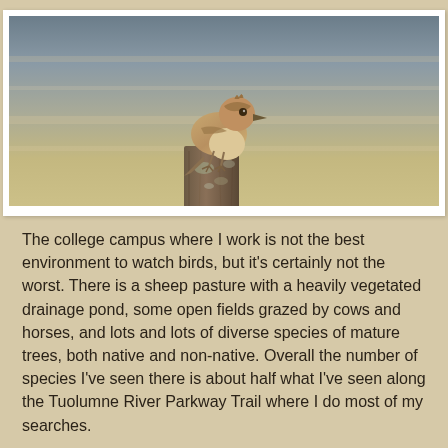[Figure (photo): A Say's Phoebe bird perched on a weathered wooden post. The bird has sandy-brown and pale buff plumage, photographed in warm golden light against a blurred background.]
The college campus where I work is not the best environment to watch birds, but it's certainly not the worst. There is a sheep pasture with a heavily vegetated drainage pond, some open fields grazed by cows and horses, and lots and lots of diverse species of mature trees, both native and non-native. Overall the number of species I've seen there is about half what I've seen along the Tuolumne River Parkway Trail where I do most of my searches.
But there are still some neat species to be seen. One of the pretty little birds I occasionally run across on campus are Say's Phoebes (Sayornis saya). Say's Phoebes are